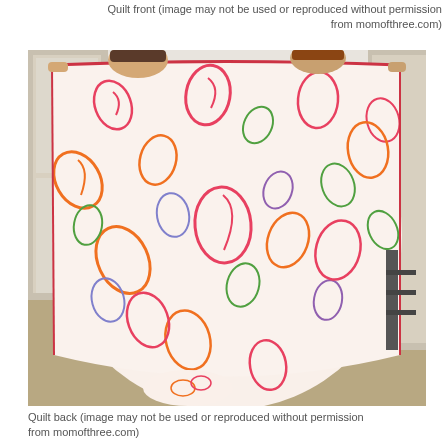Quilt front (image may not be used or reproduced without permission from momofthree.com)
[Figure (photo): A colorful paisley-patterned quilt being held up by two people (only their heads and hands visible) in a room. The quilt features pink, orange, green, blue, and yellow paisley designs on a white/cream background. The bottom edge of the quilt pools on the floor.]
Quilt back (image may not be used or reproduced without permission from momofthree.com)